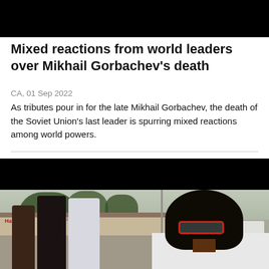[Figure (photo): Dark/black banner image at top (video thumbnail bar)]
Mixed reactions from world leaders over Mikhail Gorbachev's death
CA, 01 Sep 2022
As tributes pour in for the late Mikhail Gorbachev, the death of the Soviet Union's last leader is spurring mixed reactions among world powers.
[Figure (photo): Video thumbnail with black bar at top and outdoor scene below showing a woman with red glasses and braids in the foreground, and several people standing in a parking lot area in the background near a strip mall.]